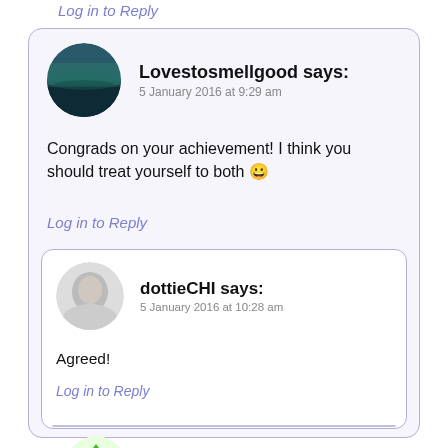Log in to Reply
Lovestosmellgood says:
5 January 2016 at 9:29 am
Congrads on your achievement! I think you should treat yourself to both 😀
Log in to Reply
dottieCHI says:
5 January 2016 at 10:28 am
Agreed!
Log in to Reply
Holly says:
5 January 2016 at 11:56